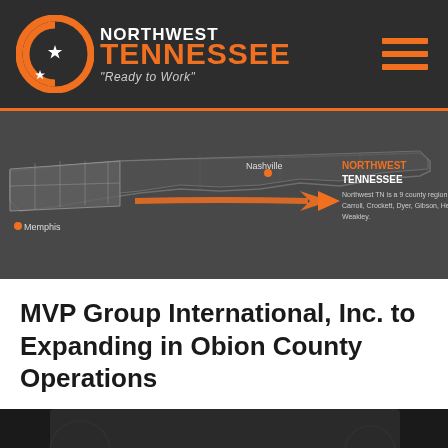NORTHWEST TENNESSEE "Ready to Work"
[Figure (map): Map of Tennessee showing Northwest TN region highlighted, with an orange arrow pointing from left to right toward text. Nashville and Memphis are labeled. Text reads: NORTHWEST TENNESSEE - Northwest TN is a 9 county region comprising Benton, Carroll, Crockett, Dyer, Gibson, Henry, Lake, Obion and Weakley.]
MVP Group International, Inc. to Expanding in Obion County Operations
[Figure (photo): Dark photo with white logo/emblem partially visible at bottom of page]